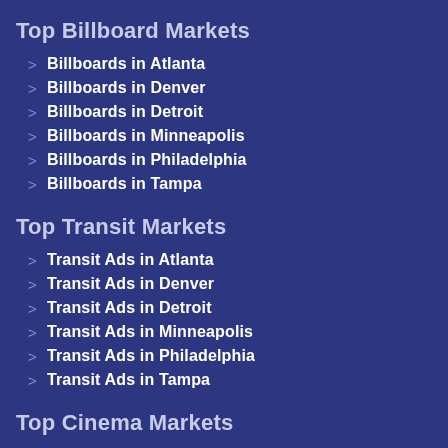Top Billboard Markets
Billboards in Atlanta
Billboards in Denver
Billboards in Detroit
Billboards in Minneapolis
Billboards in Philadelphia
Billboards in Tampa
Top Transit Markets
Transit Ads in Atlanta
Transit Ads in Denver
Transit Ads in Detroit
Transit Ads in Minneapolis
Transit Ads in Philadelphia
Transit Ads in Tampa
Top Cinema Markets
Cinema Ads in Atlanta
Cinema Ads in Denver
Cinema Ads in Detroit
Cinema Ads in Minneapolis
Cinema Ads in Philadelphia